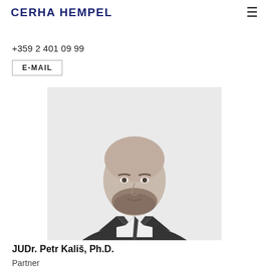CERHA HEMPEL
+359 2 401 09 99
E-MAIL
[Figure (photo): Black and white portrait photo of JUDr. Petr Kališ, Ph.D., a man in a dark suit and tie, bald head, beard, looking at the camera]
JUDr. Petr Kališ, Ph.D.
Partner